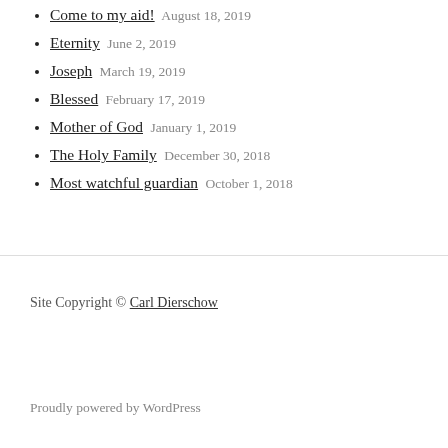Come to my aid! August 18, 2019
Eternity June 2, 2019
Joseph March 19, 2019
Blessed February 17, 2019
Mother of God January 1, 2019
The Holy Family December 30, 2018
Most watchful guardian October 1, 2018
Site Copyright © Carl Dierschow
Proudly powered by WordPress